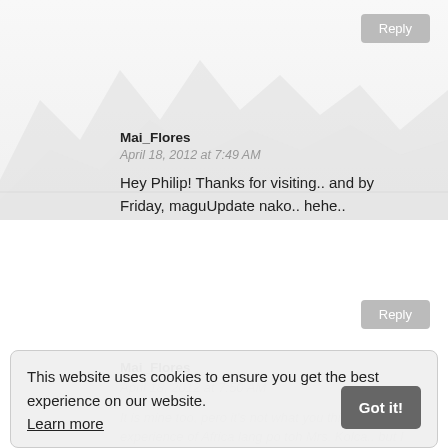[Figure (photo): Mountain range background image, faded/light, spanning top portion of page]
Reply
Mai_Flores
April 18, 2012 at 7:49 AM
Hey Philip! Thanks for visiting.. and by Friday, maguUpdate nako.. hehe..
Reply
Mai_Flores
April 18, 2012 at 7:50 AM
It is mine too, pero it's not what you think, partial experience of Africa lang po toh Mrs. Kolca.. but I will write an update real soon.. :)
This website uses cookies to ensure you get the best experience on our website. Learn more